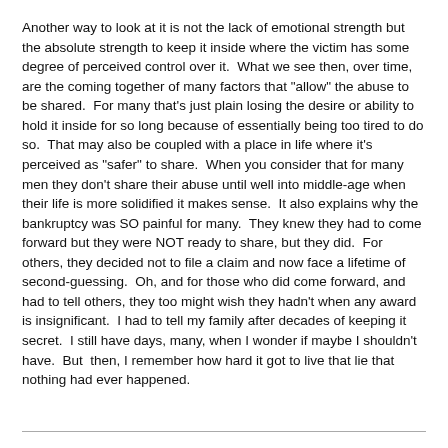Another way to look at it is not the lack of emotional strength but the absolute strength to keep it inside where the victim has some degree of perceived control over it.  What we see then, over time, are the coming together of many factors that "allow" the abuse to be shared.  For many that's just plain losing the desire or ability to hold it inside for so long because of essentially being too tired to do so.  That may also be coupled with a place in life where it's perceived as "safer" to share.  When you consider that for many men they don't share their abuse until well into middle-age when their life is more solidified it makes sense.  It also explains why the bankruptcy was SO painful for many.  They knew they had to come forward but they were NOT ready to share, but they did.  For others, they decided not to file a claim and now face a lifetime of second-guessing.  Oh, and for those who did come forward, and had to tell others, they too might wish they hadn't when any award is insignificant.  I had to tell my family after decades of keeping it secret.  I still have days, many, when I wonder if maybe I shouldn't have.  But  then, I remember how hard it got to live that lie that nothing had ever happened.